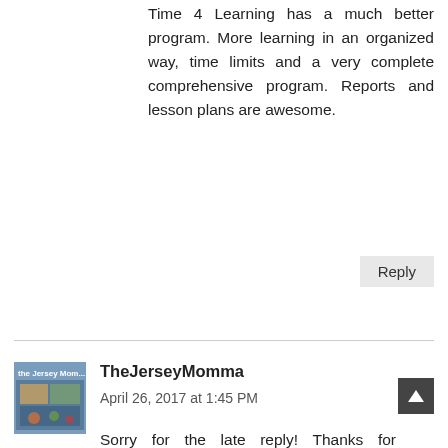Time 4 Learning has a much better program. More learning in an organized way, time limits and a very complete comprehensive program. Reports and lesson plans are awesome.
Reply
TheJerseyMomma
April 26, 2017 at 1:45 PM
Sorry for the late reply! Thanks for commenting. You are the second reader to comment about glitches and issues with the site loading. I did not have this problem when using ABCMouse, but I'd be curious if other readers are having the same issues. I will have to check out the other site mentioned. Thanks for taking the time to share your experience.